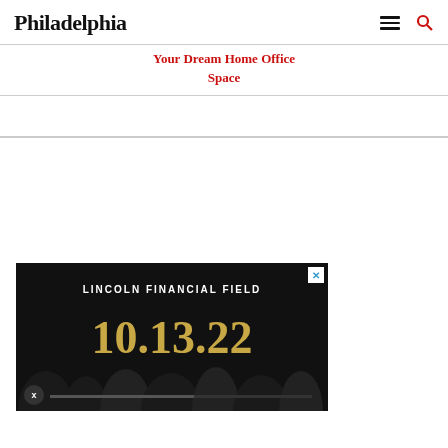Philadelphia
Your Dream Home Office Space
[Figure (advertisement): Advertisement for Lincoln Financial Field event on 10.13.22, dark background with crowd silhouettes, gold date text]